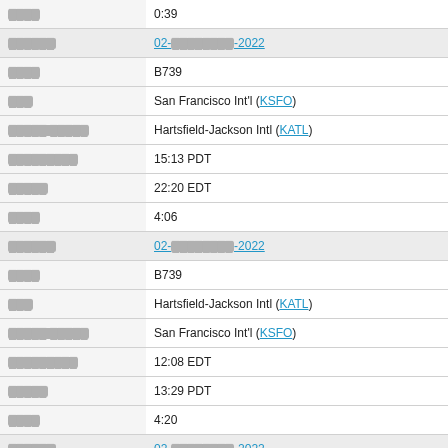| Field | Value |
| --- | --- |
| [redacted] | 0:39 |
| [redacted] | 02-[redacted]-2022 |
| [redacted] | B739 |
| [redacted] | San Francisco Int'l (KSFO) |
| [redacted] [redacted] | Hartsfield-Jackson Intl (KATL) |
| [redacted] | 15:13 PDT |
| [redacted] | 22:20 EDT |
| [redacted] | 4:06 |
| [redacted] | 02-[redacted]-2022 |
| [redacted] | B739 |
| [redacted] | Hartsfield-Jackson Intl (KATL) |
| [redacted] [redacted] | San Francisco Int'l (KSFO) |
| [redacted] | 12:08 EDT |
| [redacted] | 13:29 PDT |
| [redacted] | 4:20 |
| [redacted] | 02-[redacted]-2022 |
| [redacted] | B739 |
| [redacted] | Greenville/Spartanburg Intl (KGSP) |
| [redacted] [redacted] | Hartsfield-Jackson Intl (KATL) |
| [redacted] | 07:20 EDT |
| [redacted] | 07:57 EDT |